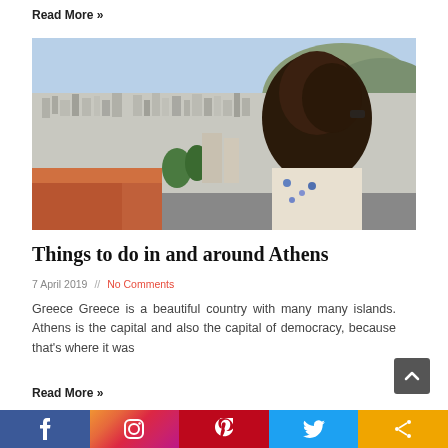Read More »
[Figure (photo): Woman seen from behind looking out over the city of Athens, Greece, with many buildings and a mountain visible in the background]
Things to do in and around Athens
7 April 2019 // No Comments
Greece Greece is a beautiful country with many many islands. Athens is the capital and also the capital of democracy, because that's where it was
Read More »